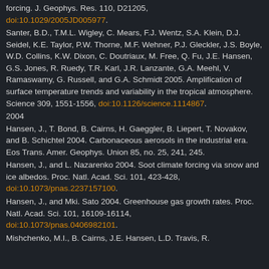forcing. J. Geophys. Res. 110, D21205, doi:10.1029/2005JD005977.
Santer, B.D., T.M.L. Wigley, C. Mears, F.J. Wentz, S.A. Klein, D.J. Seidel, K.E. Taylor, P.W. Thorne, M.F. Wehner, P.J. Gleckler, J.S. Boyle, W.D. Collins, K.W. Dixon, C. Doutriaux, M. Free, Q. Fu, J.E. Hansen, G.S. Jones, R. Ruedy, T.R. Karl, J.R. Lanzante, G.A. Meehl, V. Ramaswamy, G. Russell, and G.A. Schmidt 2005. Amplification of surface temperature trends and variability in the tropical atmosphere. Science 309, 1551-1556, doi:10.1126/science.1114867.
2004
Hansen, J., T. Bond, B. Cairns, H. Gaeggler, B. Liepert, T. Novakov, and B. Schichtel 2004. Carbonaceous aerosols in the industrial era. Eos Trans. Amer. Geophys. Union 85, no. 25, 241, 245.
Hansen, J., and L. Nazarenko 2004. Soot climate forcing via snow and ice albedos. Proc. Natl. Acad. Sci. 101, 423-428, doi:10.1073/pnas.2237157100.
Hansen, J., and Mki. Sato 2004. Greenhouse gas growth rates. Proc. Natl. Acad. Sci. 101, 16109-16114, doi:10.1073/pnas.0406982101.
Mishchenko, M.I., B. Cairns, J.E. Hansen, L.D. Travis, R.